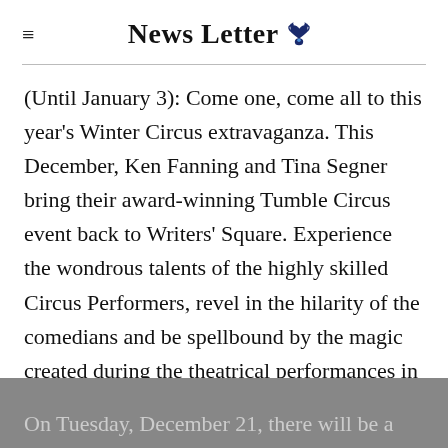News Letter
(Until January 3): Come one, come all to this year's Winter Circus extravaganza. This December, Ken Fanning and Tina Segner bring their award-winning Tumble Circus event back to Writers' Square. Experience the wondrous talents of the highly skilled Circus Performers, revel in the hilarity of the comedians and be spellbound by the magic created during the theatrical performances in the unmissable Winter Circus.
On Tuesday, December 21, there will be a